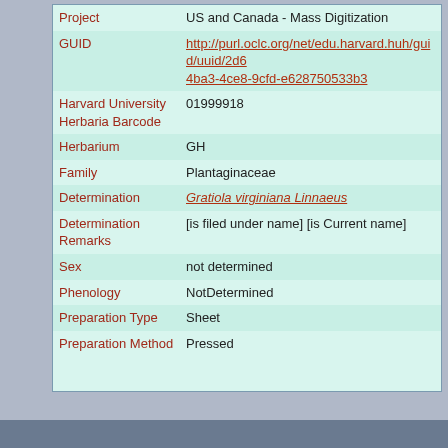| Field | Value |
| --- | --- |
| Project | US and Canada - Mass Digitization |
| GUID | http://purl.oclc.org/net/edu.harvard.huh/guid/uuid/2d6...4ba3-4ce8-9cfd-e628750533b3 |
| Harvard University Herbaria Barcode | 01999918 |
| Herbarium | GH |
| Family | Plantaginaceae |
| Determination | Gratiola virginiana Linnaeus |
| Determination Remarks | [is filed under name] [is Current name] |
| Sex | not determined |
| Phenology | NotDetermined |
| Preparation Type | Sheet |
| Preparation Method | Pressed |